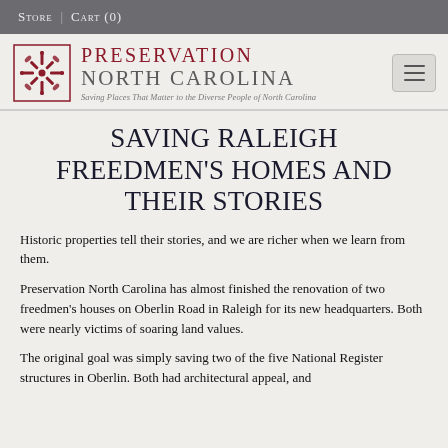Store | Cart (0)
[Figure (logo): Preservation North Carolina logo with decorative floral icon, red text 'Preservation North Carolina', tagline 'Saving Places That Matter to the Diverse People of North Carolina']
Saving Raleigh Freedmen's Homes and Their Stories
Historic properties tell their stories, and we are richer when we learn from them.
Preservation North Carolina has almost finished the renovation of two freedmen's houses on Oberlin Road in Raleigh for its new headquarters. Both were nearly victims of soaring land values.
The original goal was simply saving two of the five National Register structures in Oberlin. Both had architectural appeal, and